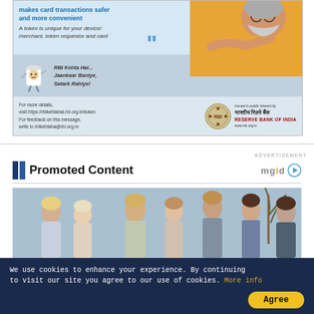[Figure (infographic): RBI advertisement banner featuring a celebrity in yellow hoodie with text about card tokenization, RBI mascot, and Reserve Bank of India logo. Top section: 'makes card transactions safer and more convenient' and 'A token is unique for your device/merchant, token requestor and card'. Middle section: RBI mascot with text 'RBI Kehta Hai... Jaankaar Baniye, Satark Rahiye!'. Bottom: contact details and RBI logo.]
ADVERTISEMENT
Promoted Content
[Figure (photo): Group of young people/teenagers posing together outdoors with palm trees in background.]
We use cookies to enhance your experience. By continuing to visit our site you agree to our use of cookies. More info